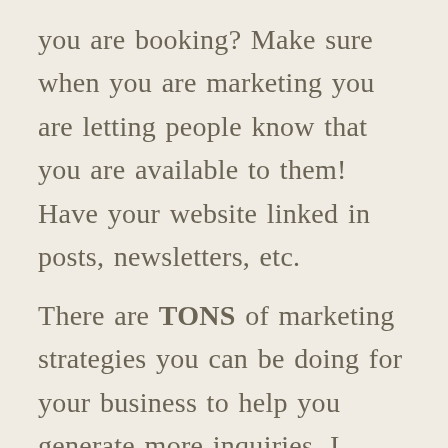you are booking? Make sure when you are marketing you are letting people know that you are available to them! Have your website linked in posts, newsletters, etc.

There are TONS of marketing strategies you can be doing for your business to help you generate more inquiries. I suggest you go back and listen to episodes 29 + 31 on the Gold Biz Podcast, which will